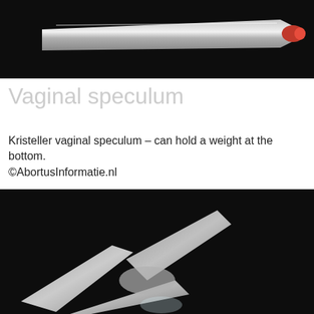[Figure (photo): Close-up photo of a Kristeller vaginal speculum — metallic instrument with a red-tipped end, against a dark/black background]
Vaginal speculum
Kristeller vaginal speculum – can hold a weight at the bottom.
©AbortusInformatie.nl
[Figure (photo): Photo of a vaginal speculum (metal instrument with two blades visible) against a dark background, with a green cookie consent overlay dialog in the foreground]
We use functional and analytical cookies for website optimization and statistics. By browsing our website you accept. More info Accept